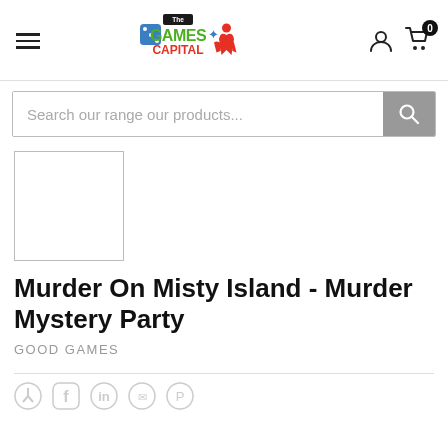The Games Capital — navigation header with hamburger menu, logo, account icon, cart (0)
Search our range our products...
[Figure (illustration): Empty white product image placeholder box with border]
Murder On Misty Island - Murder Mystery Party
GOOD GAMES